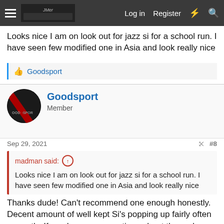Navigation bar with menu, logo, Log in, Register, and search icons
Looks nice I am on look out for jazz si for a school run. I have seen few modified one in Asia and look really nice
Goodsport
Goodsport
Member
Sep 29, 2021  #8
madman said: ↑
Looks nice I am on look out for jazz si for a school run. I have seen few modified one in Asia and look really nice
Thanks dude! Can't recommend one enough honestly. Decent amount of well kept Si's popping up fairly often currently. If you have any questions about them, drop me a DM and I'll try help.